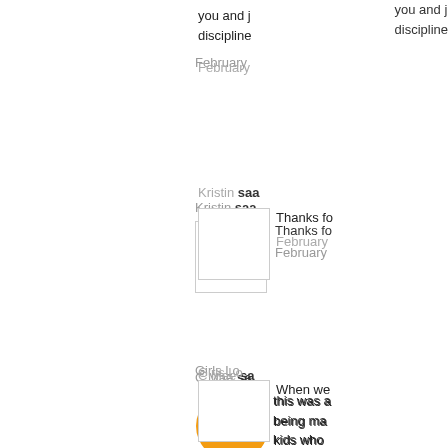you and j discipline
February
Kristin said...
Thanks fo
February
C Mae said...
this was a being ma kids who want mo
February
Girls Lo
When we